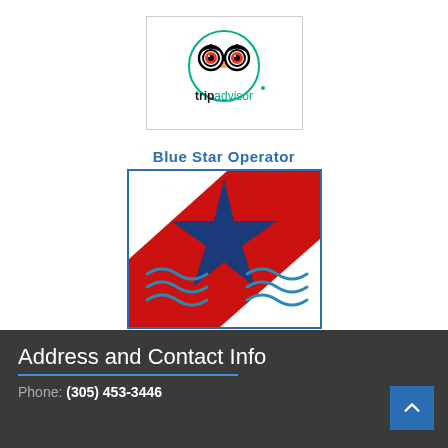[Figure (logo): TripAdvisor owl logo in a circle with the text 'tripadvisor', inside a bordered white box]
[Figure (logo): Blue Star Operator logo: a blue star on a red and white dive flag background with wave graphics, text 'Blue Star Operator' above and 'Committed to Coral Conservation' below]
Address and Contact Info
Phone: (305) 453-3446